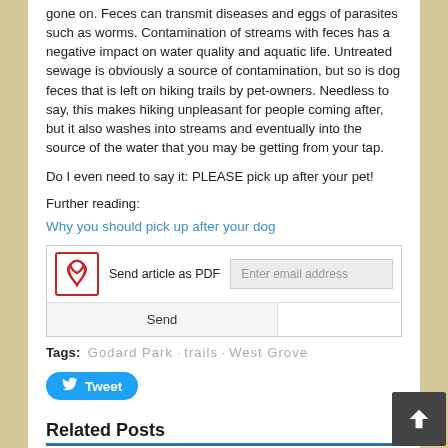gone on. Feces can transmit diseases and eggs of parasites such as worms. Contamination of streams with feces has a negative impact on water quality and aquatic life. Untreated sewage is obviously a source of contamination, but so is dog feces that is left on hiking trails by pet-owners. Needless to say, this makes hiking unpleasant for people coming after, but it also washes into streams and eventually into the source of the water that you may be getting from your tap.
Do I even need to say it: PLEASE pick up after your pet!
Further reading:
Why you should pick up after your dog
[Figure (other): PDF send article widget with email input and Send button]
Tags: Godard Park · trails · West Grove
Tweet button
Related Posts
[Figure (photo): Outdoor trail photo with person hiking]
Chesco Planning completes trail study, calls for new projects